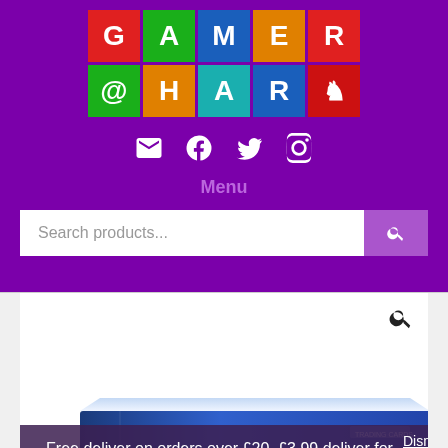[Figure (logo): Gamers at Hart logo — colorful grid of letter tiles spelling GAMERS @HART with a meeple icon, on purple background]
[Figure (infographic): Social media icons: email envelope, Facebook, Twitter, Instagram — white icons on purple background]
Menu
Search products...
[Figure (photo): Product box — blue board game or card game box, partially visible at the bottom of the white content area]
Free deliver on orders over £20, £3.99 deliver for orders under.
Dismiss